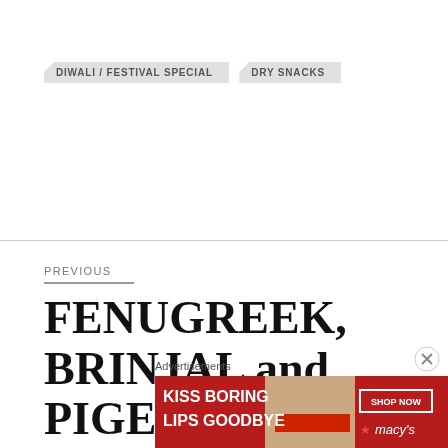DIWALI / FESTIVAL SPECIAL
DRY SNACKS
PREVIOUS
FENUGREEK, BRINJAL and PIGEON PEA CURRY / RINGAN TUVER METHI NU SHAK
Advertisements
[Figure (photo): Macy's advertisement banner: 'KISS BORING LIPS GOODBYE' with SHOP NOW button and Macy's logo, featuring a close-up of a woman's face with red lipstick]